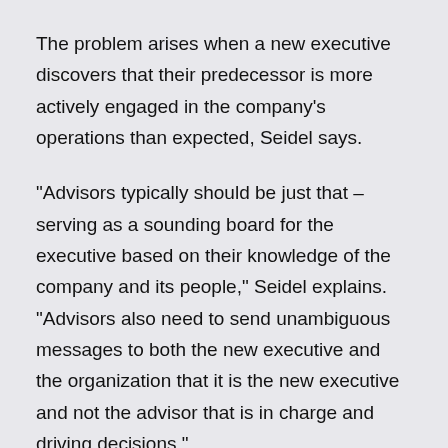The problem arises when a new executive discovers that their predecessor is more actively engaged in the company's operations than expected, Seidel says.
“Advisors typically should be just that – serving as a sounding board for the executive based on their knowledge of the company and its people,” Seidel explains. “Advisors also need to send unambiguous messages to both the new executive and the organization that it is the new executive and not the advisor that is in charge and driving decisions.”
Read more in Leadership